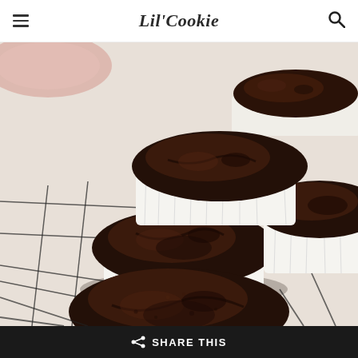Lil'Cookie
[Figure (photo): Chocolate cupcakes without frosting in white paper liners on a wire cooling rack, photographed close-up on a light wooden surface.]
SHARE THIS